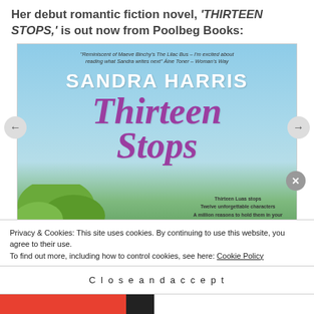Her debut romantic fiction novel, 'THIRTEEN STOPS,' is out now from Poolbeg Books:
[Figure (illustration): Book cover of 'Thirteen Stops' by Sandra Harris, published by Poolbeg Books. Light blue sky background with green trees at bottom. Author name in white bold caps, title in large cursive purple lettering. Quote from Áine Toner – Woman's Way at top. Taglines: Thirteen Luas stops, Twelve unforgettable characters, A million reasons to hold them in your hearts forever.]
Privacy & Cookies: This site uses cookies. By continuing to use this website, you agree to their use. To find out more, including how to control cookies, see here: Cookie Policy
Close and accept